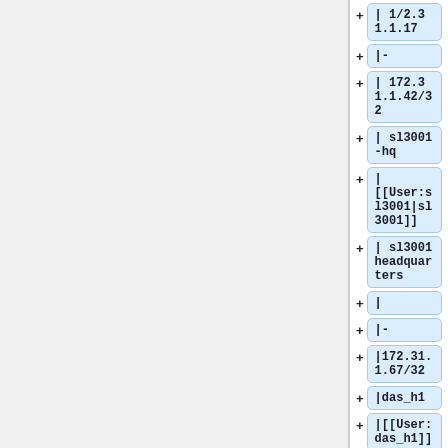| 172.31.1.17
|-
| 172.31.1.42/32
| sl3001-hq
| [[User:sl3001|sl 3001]]
| sl3001 headquarters
|
|-
|172.31.1.67/32
|das_h1
|[[User:das_h1]]
|| section: